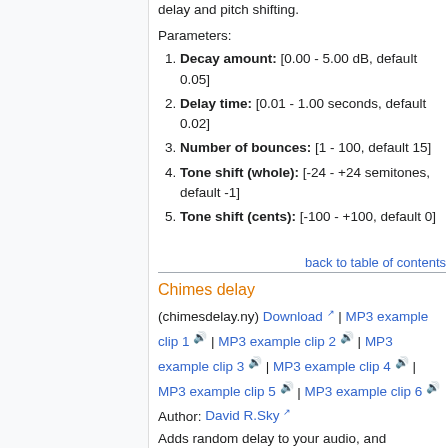delay and pitch shifting.
Parameters:
1. Decay amount: [0.00 - 5.00 dB, default 0.05]
2. Delay time: [0.01 - 1.00 seconds, default 0.02]
3. Number of bounces: [1 - 100, default 15]
4. Tone shift (whole): [-24 - +24 semitones, default -1]
5. Tone shift (cents): [-100 - +100, default 0]
back to table of contents
Chimes delay
(chimesdelay.ny) Download | MP3 example clip 1 | MP3 example clip 2 | MP3 example clip 3 | MP3 example clip 4 | MP3 example clip 5 | MP3 example clip 6
Author: David R.Sky
Adds random delay to your audio, and